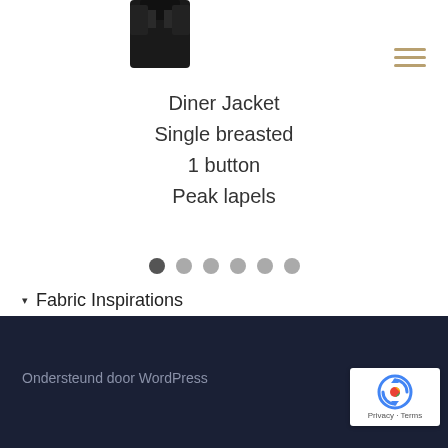[Figure (photo): Partial view of a dark/black jacket at the top of the page]
[Figure (other): Hamburger menu icon with three horizontal gold/tan lines]
Diner Jacket
Single breasted
1 button
Peak lapels
[Figure (other): Carousel navigation dots: 6 dots, first one filled/dark, rest light gray]
▾ Fabric Inspirations
Ondersteund door WordPress
[Figure (other): reCAPTCHA badge with logo, Privacy and Terms links]